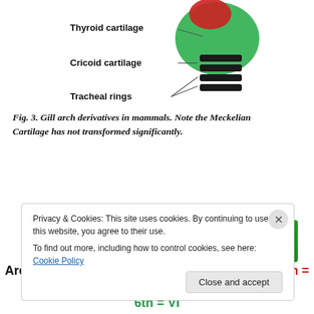[Figure (illustration): Anatomical diagram showing gill arch derivatives in mammals including labeled structures: Thyroid cartilage, Cricoid cartilage, and Tracheal rings, with leader lines pointing to the respective structures in the illustration.]
Fig. 3. Gill arch derivatives in mammals. Note the Meckelian Cartilage has not transformed significantly.
[Figure (screenshot): Jetpack advertisement banner showing 'Back up your site' with green background.]
Arches color legend: 1st = I, 2nd = II, 3rd = III, 4th = IV, 6th = VI
Privacy & Cookies: This site uses cookies. By continuing to use this website, you agree to their use.
To find out more, including how to control cookies, see here: Cookie Policy